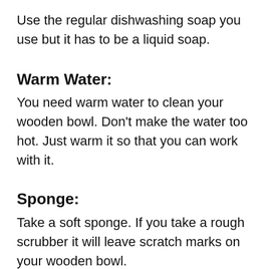Use the regular dishwashing soap you use but it has to be a liquid soap.
Warm Water:
You need warm water to clean your wooden bowl. Don’t make the water too hot. Just warm it so that you can work with it.
Sponge:
Take a soft sponge. If you take a rough scrubber it will leave scratch marks on your wooden bowl.
Towel/Cotton Cloth: